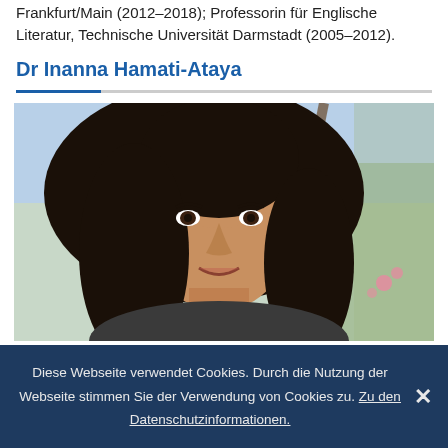Frankfurt/Main (2012–2018); Professorin für Englische Literatur, Technische Universität Darmstadt (2005–2012).
Dr Inanna Hamati-Ataya
[Figure (photo): Portrait photo of Dr Inanna Hamati-Ataya, a woman with long dark hair, smiling, outdoors with trees and blurred background.]
Diese Webseite verwendet Cookies. Durch die Nutzung der Webseite stimmen Sie der Verwendung von Cookies zu. Zu den Datenschutzinformationen.